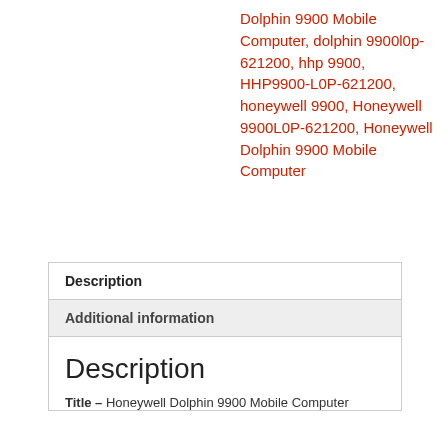Dolphin 9900 Mobile Computer, dolphin 9900l0p-621200, hhp 9900, HHP9900-L0P-621200, honeywell 9900, Honeywell 9900L0P-621200, Honeywell Dolphin 9900 Mobile Computer
| Description |
| --- |
| Additional information |
| Description
Title – Honeywell Dolphin 9900 Mobile Computer |